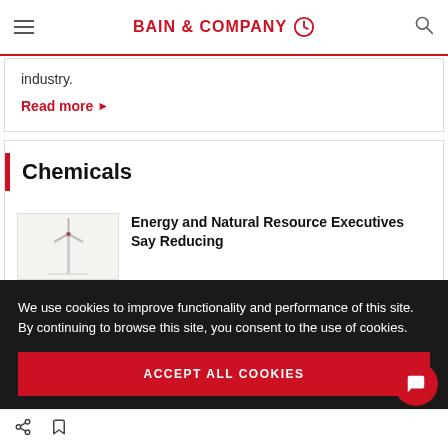BAIN & COMPANY
industry.
Read more ▶
Chemicals
[Figure (illustration): Wind turbine illustration with red and gray tones]
Energy and Natural Resource Executives Say Reducing
We use cookies to improve functionality and performance of this site. By continuing to browse this site, you consent to the use of cookies.
ACCEPT ALL COOKIES